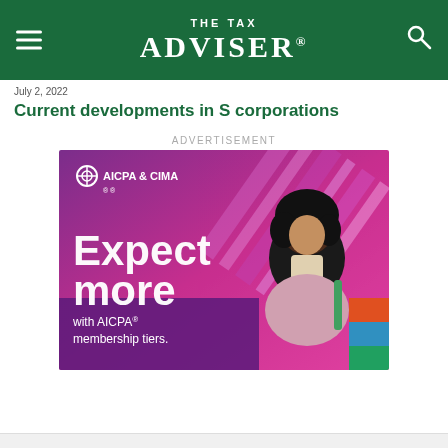THE TAX ADVISER
July 2, 2022
Current developments in S corporations
ADVERTISEMENT
[Figure (photo): AICPA & CIMA advertisement showing a woman with text 'Expect more with AICPA membership tiers.']